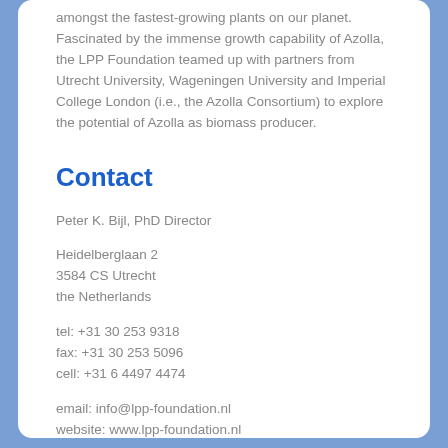amongst the fastest-growing plants on our planet. Fascinated by the immense growth capability of Azolla, the LPP Foundation teamed up with partners from Utrecht University, Wageningen University and Imperial College London (i.e., the Azolla Consortium) to explore the potential of Azolla as biomass producer.
Contact
Peter K. Bijl, PhD Director
Heidelberglaan 2
3584 CS Utrecht
the Netherlands
tel: +31 30 253 9318
fax: +31 30 253 5096
cell: +31 6 4497 4474
email: info@lpp-foundation.nl
website: www.lpp-foundation.nl